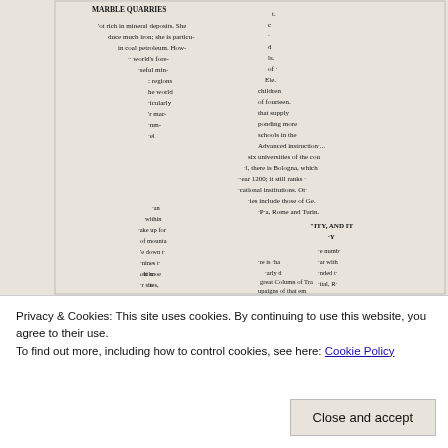[Figure (illustration): A vintage illustration of text arranged in the shape of the Italian peninsula (Italy map silhouette). Text fragments include references to MARBLE QUARRIES, mineral deposits, iron, coal, petroleum, universities, Bologna, Genoa, Rome, Turin, the Colosseum, Column of Trajan, chariot races, and other topics about Italy's geography and culture.]
Privacy & Cookies: This site uses cookies. By continuing to use this website, you agree to their use.
To find out more, including how to control cookies, see here: Cookie Policy
Close and accept